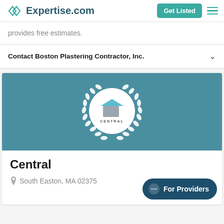Expertise.com
provides free estimates.
Contact Boston Plastering Contractor, Inc.
[Figure (logo): Central company award logo on teal background with white wreath and circle]
Central
South Easton, MA 02375